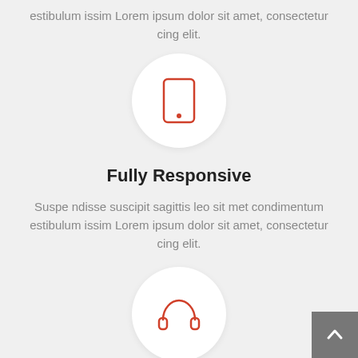estibulum issim Lorem ipsum dolor sit amet, consectetur cing elit.
[Figure (illustration): Red smartphone/mobile phone icon inside a white circle on a light grey background]
Fully Responsive
Suspe ndisse suscipit sagittis leo sit met condimentum estibulum issim Lorem ipsum dolor sit amet, consectetur cing elit.
[Figure (illustration): Red headphones icon inside a white circle on a light grey background]
[Figure (illustration): Back to top button - upward arrow on grey square]